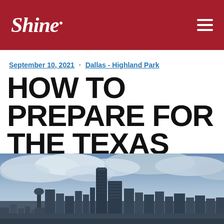Shine.
September 10, 2021 · Dallas - Highland Park
HOW TO PREPARE FOR THE TEXAS POLLEN SEASON
[Figure (photo): Aerial view of Dallas, Texas city skyline with skyscrapers under dramatic cloudy sky]